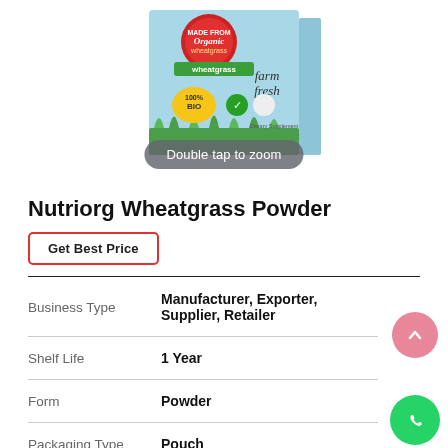[Figure (photo): Nutriorg Wheatgrass Powder product box with 'Made from Organic Wheatgrass', 'Farm Fresh', '100% Bio', and 'Dietary Supplement' labels on a light blue box with grass imagery.]
Double tap to zoom
Nutriorg Wheatgrass Powder
Get Best Price
| Business Type | Manufacturer, Exporter, Supplier, Retailer |
| Shelf Life | 1 Year |
| Form | Powder |
| Packaging Type | Pouch |